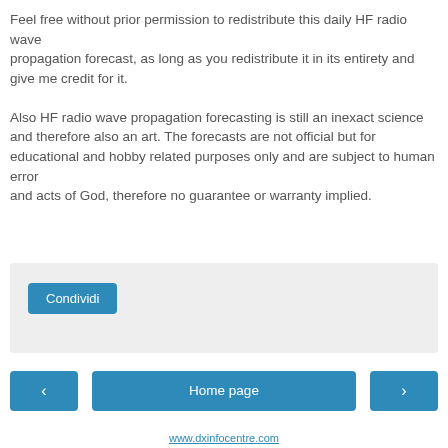Feel free without prior permission to redistribute this daily HF radio wave propagation forecast, as long as you redistribute it in its entirety and give me credit for it.

Also HF radio wave propagation forecasting is still an inexact science and therefore also an art. The forecasts are not official but for educational and hobby related purposes only and are subject to human error and acts of God, therefore no guarantee or warranty implied.
[Figure (other): A grey share panel box with a 'Condividi' (Share) button in blue]
Home page